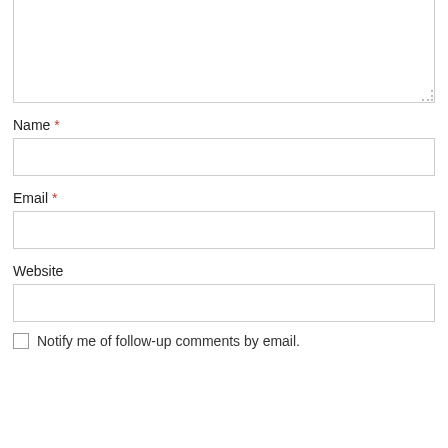[Figure (screenshot): A textarea input box (partially visible, top cut off) with a resize handle at the bottom right corner]
Name *
[Figure (screenshot): A text input field for Name]
Email *
[Figure (screenshot): A text input field for Email]
Website
[Figure (screenshot): A text input field for Website]
Notify me of follow-up comments by email.